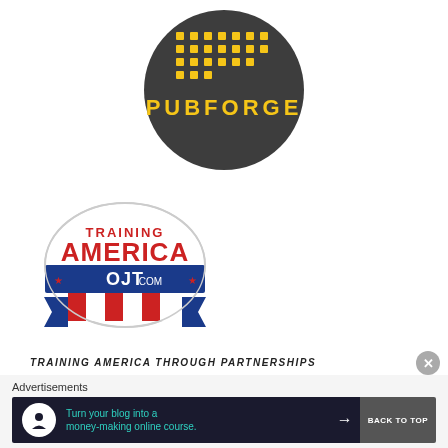[Figure (logo): PubForge logo: dark gray circle with yellow dot grid pattern above yellow 'PUBFORGE' text]
[Figure (logo): Training America OJT.com logo: oval badge with red 'TRAINING AMERICA' text, blue 'OJT.COM' banner with stars, red/white striped shield bottom, blue ribbon tails]
TRAINING AMERICA THROUGH PARTNERSHIPS
Advertisements
[Figure (infographic): Dark blue ad banner: white circle icon with tree/person symbol, teal text 'Turn your blog into a money-making online course.' with white arrow, followed by dark gray 'BACK TO TOP' button]